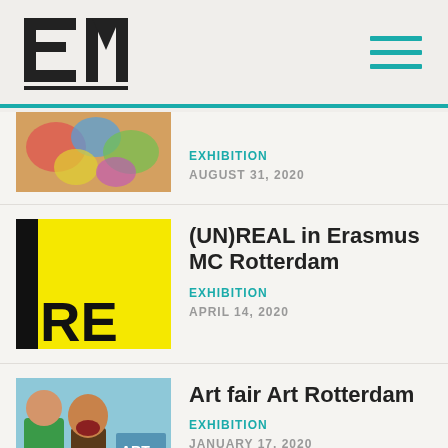[Figure (logo): EM logo — block letters E and M]
[Figure (illustration): Hamburger menu icon with three teal horizontal bars]
[Figure (photo): Partial thumbnail of colorful artwork]
EXHIBITION
AUGUST 31, 2020
[Figure (photo): Yellow and black graphic with letters RE]
(UN)REAL in Erasmus MC Rotterdam
EXHIBITION
APRIL 14, 2020
[Figure (photo): Photo of Art Rotterdam fair with costumed figures and signage]
Art fair Art Rotterdam
EXHIBITION
JANUARY 17, 2020